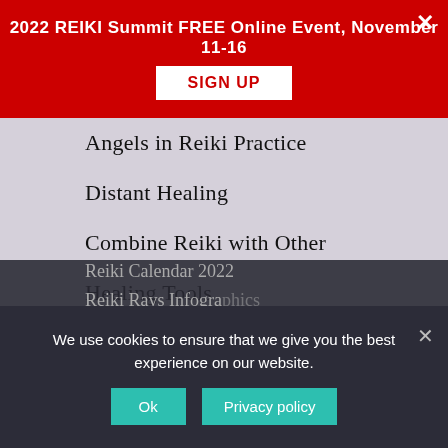2022 REIKI Summit FREE Online Event, November 11-16
SIGN UP
Angels in Reiki Practice
Distant Healing
Combine Reiki with Other
Healing Tools
Chakras
Resources
Reiki Wisdom Library – The App
Reiki Calendar 2022
Reiki Rays Infogra...
Reiki Rays Int...
We use cookies to ensure that we give you the best experience on our website.
Ok
Privacy policy